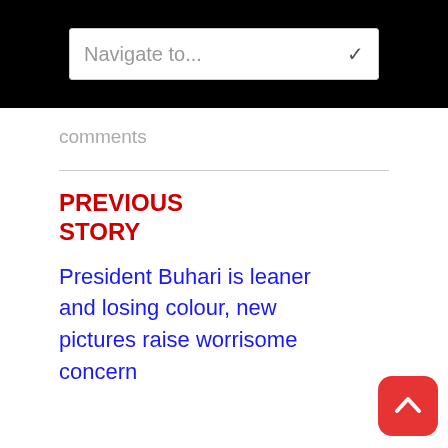Navigate to...
comments
PREVIOUS STORY
President Buhari is leaner and losing colour, new pictures raise worrisome concern